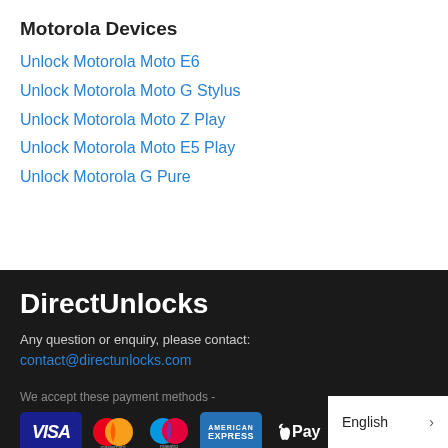Motorola Devices
Unlock Motorola Moto E6
Unlock Motorola Moto G Stylus
Unlock Motorola Moto Z Play
Unlock Motorola Moto E5 Play
Unlock Motorola G Pure
DirectUnlocks
Any question or enquiry, please contact:
contact@directunlocks.com
We accept these payment methods -
[Figure (logo): Payment method logos: Visa, Mastercard, Maestro, American Express, Apple Pay]
English >